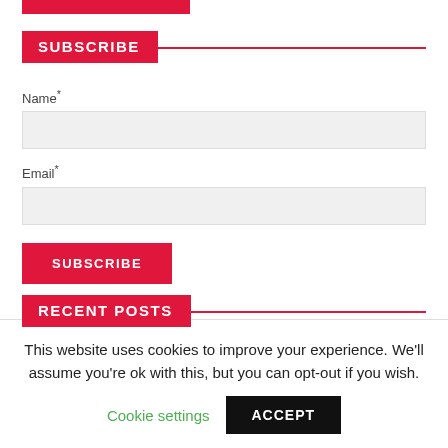[Figure (other): Partial red rectangle bar at top of page (cropped widget top element)]
SUBSCRIBE
Name*
[Figure (other): Text input field for Name]
Email*
[Figure (other): Text input field for Email]
[Figure (other): SUBSCRIBE button (red background, white bold uppercase text)]
RECENT POSTS
Dieting for Success Making it Happen
This website uses cookies to improve your experience. We'll assume you're ok with this, but you can opt-out if you wish.
Cookie settings
ACCEPT